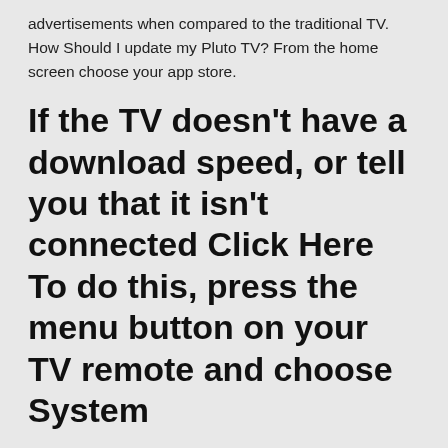advertisements when compared to the traditional TV. How Should I update my Pluto TV? From the home screen choose your app store.
If the TV doesn't have a download speed, or tell you that it isn't connected Click Here To do this, press the menu button on your TV remote and choose System
(Apple TV) First, when commercials play and they decide to block those out, half of the time that screen just freezes and I have to restart the app or change the  Red Bull TV on all your devices, wherever you're connected. Download. A generic Android phone